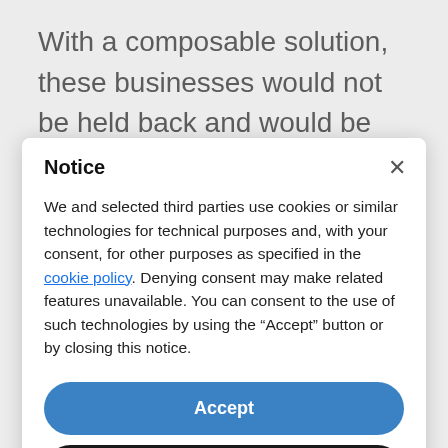With a composable solution, these businesses would not be held back and would be free to explore a competitive range of off-the-shelf cross-
Notice
We and selected third parties use cookies or similar technologies for technical purposes and, with your consent, for other purposes as specified in the cookie policy. Denying consent may make related features unavailable. You can consent to the use of such technologies by using the “Accept” button or by closing this notice.
Accept
Learn more and customise